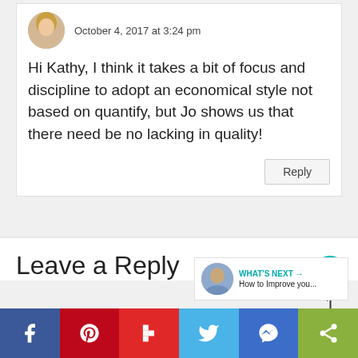October 4, 2017 at 3:24 pm
Hi Kathy, I think it takes a bit of focus and discipline to adopt an economical style not based on quantify, but Jo shows us that there need be no lacking in quality!
Reply
Leave a Reply
[Figure (infographic): Social sharing bar with Facebook, Pinterest, Flipboard, Twitter, Messenger, and Share buttons]